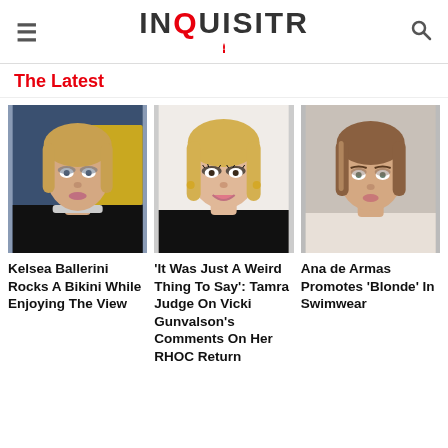INQUISITR
The Latest
[Figure (photo): Kelsea Ballerini portrait photo at event, blue background]
[Figure (photo): Tamra Judge portrait photo, smiling blonde woman]
[Figure (photo): Ana de Armas portrait photo, brown-haired woman]
Kelsea Ballerini Rocks A Bikini While Enjoying The View
'It Was Just A Weird Thing To Say': Tamra Judge On Vicki Gunvalson's Comments On Her RHOC Return
Ana de Armas Promotes 'Blonde' In Swimwear